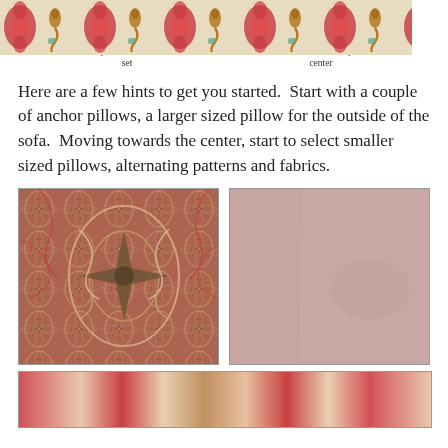3. Limit patterned fabric to one set
6. Throw in an odd shape in the center
Here are a few hints to get you started.  Start with a couple of anchor pillows, a larger sized pillow for the outside of the sofa.  Moving towards the center, start to select smaller sized pillows, alternating patterns and fabrics.
[Figure (photo): Close-up of a red and green ornate paisley/medallion patterned fabric]
[Figure (photo): Plain light pink/blush linen fabric swatch]
[Figure (photo): Partial view of a cream fabric with red, teal, and gold ikat/seahorse pattern]